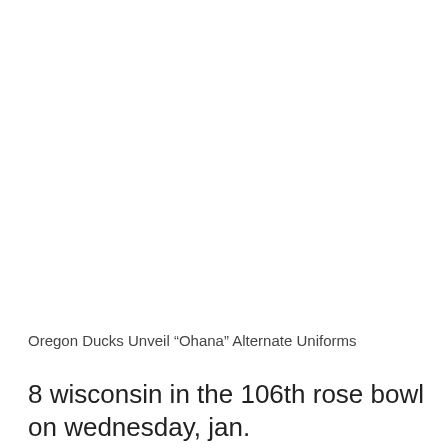Oregon Ducks Unveil “Ohana” Alternate Uniforms
8 wisconsin in the 106th rose bowl on wednesday, jan.